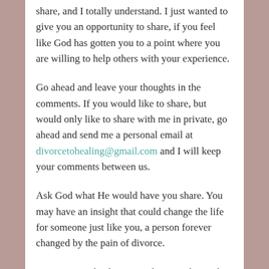share, and I totally understand. I just wanted to give you an opportunity to share, if you feel like God has gotten you to a point where you are willing to help others with your experience.
Go ahead and leave your thoughts in the comments. If you would like to share, but would only like to share with me in private, go ahead and send me a personal email at divorcetohealing@gmail.com and I will keep your comments between us.
Ask God what He would have you share. You may have an insight that could change the life for someone just like you, a person forever changed by the pain of divorce.
I want to say thank you in advance. I know this may be tough for some people. God has brought some of you to a place where you are ready to share your thoughts. He has given you a testimony in how He has helped you gain wisdom and peace through your healing process. Now is a great time to share your thoughts.